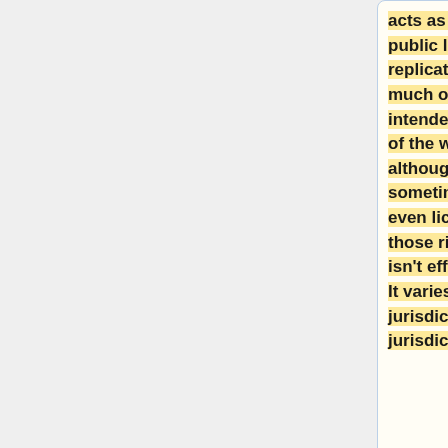acts as a free public license replicating much of intended effect of the waiver, although sometimes even licensing those rights isn't effective. It varies jurisdiction by jurisdiction.
While we can't be certain that all copyright and related rights will indeed be surrendered
Thai text (untranscribed)